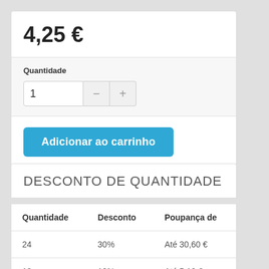4,25 €
Quantidade
1
Adicionar ao carrinho
DESCONTO DE QUANTIDADE
| Quantidade | Desconto | Poupança de |
| --- | --- | --- |
| 24 | 30% | Até 30,60 € |
| 12 | 10% | Até 5,10 € |